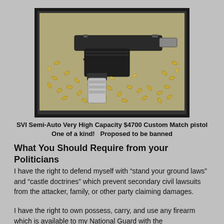[Figure (photo): Photo of an SVI semi-automatic pistol with detached magazine lying on a pile of scattered brass bullet casings/ammunition]
SVI Semi-Auto Very High Capacity $4700 Custom Match pistol
One of a kind!   Proposed to be banned
What You Should Require from your Politicians
I have the right to defend myself with “stand your ground laws” and “castle doctrines” which prevent secondary civil lawsuits from the attacker, family, or other party claiming damages.
I have the right to own possess, carry, and use any firearm which is available to my National Guard with the